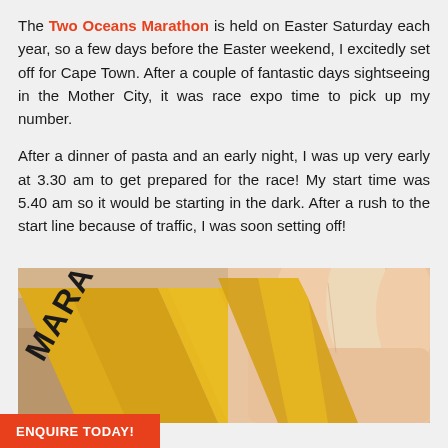The Two Oceans Marathon is held on Easter Saturday each year, so a few days before the Easter weekend, I excitedly set off for Cape Town. After a couple of fantastic days sightseeing in the Mother City, it was race expo time to pick up my number.
After a dinner of pasta and an early night, I was up very early at 3.30 am to get prepared for the race! My start time was 5.40 am so it would be starting in the dark. After a rush to the start line because of traffic, I was soon setting off!
[Figure (photo): Close-up photo of a hand holding a golden/yellow marathon ribbon or band with the text 'MARA' visible on it, with a wooden background.]
ENQUIRE TODAY!